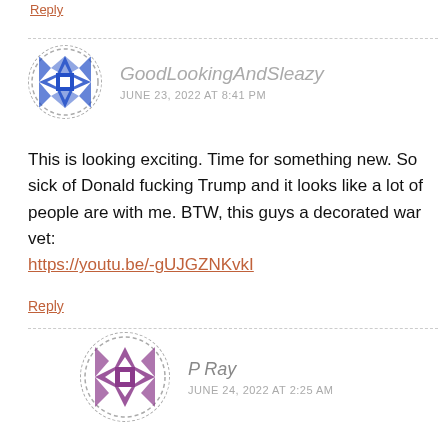Reply
GoodLookingAndSleazy
JUNE 23, 2022 AT 8:41 PM
This is looking exciting. Time for something new. So sick of Donald fucking Trump and it looks like a lot of people are with me. BTW, this guys a decorated war vet:
https://youtu.be/-gUJGZNKvkI
Reply
P Ray
JUNE 24, 2022 AT 2:25 AM